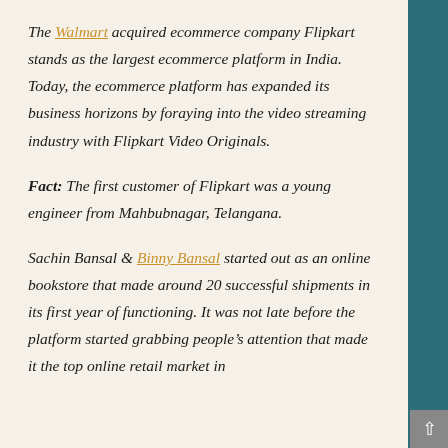The Walmart acquired ecommerce company Flipkart stands as the largest ecommerce platform in India. Today, the ecommerce platform has expanded its business horizons by foraying into the video streaming industry with Flipkart Video Originals.
Fact: The first customer of Flipkart was a young engineer from Mahbubnagar, Telangana.
Sachin Bansal & Binny Bansal started out as an online bookstore that made around 20 successful shipments in its first year of functioning. It was not late before the platform started grabbing people's attention that made it the top online retail market in